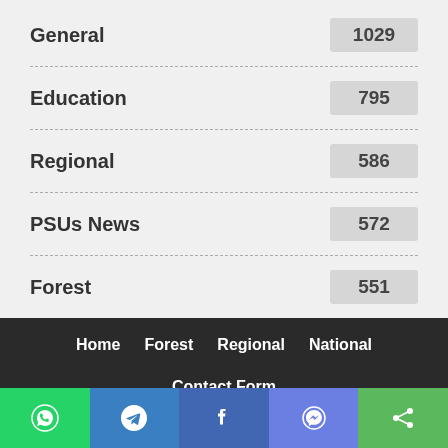General 1029
Education 795
Regional 586
PSUs News 572
Forest 551
Home  Forest  Regional  National  Contact Form
© 2018 - GlobalGreeNews. All Rights Reserved.
Developed by: SSIT-8143363500